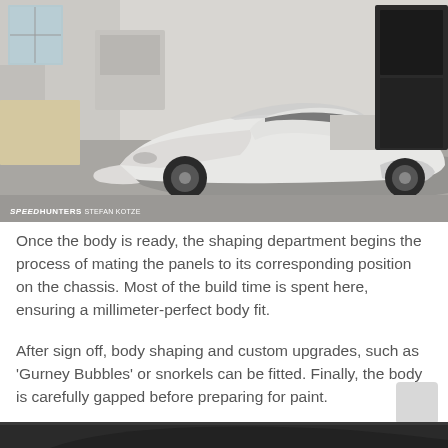[Figure (photo): A white Ford GT40 body shell being fitted in a workshop/shaping department. The car is missing its engine and interior. Various car parts and equipment are visible in the background. Watermark reads SPEEDHUNTERS STEFAN KOTZE at bottom left.]
Once the body is ready, the shaping department begins the process of mating the panels to its corresponding position on the chassis. Most of the build time is spent here, ensuring a millimeter-perfect body fit.
After sign off, body shaping and custom upgrades, such as 'Gurney Bubbles' or snorkels can be fitted. Finally, the body is carefully gapped before preparing for paint.
[Figure (photo): Partial view of a dark-colored car, visible at the bottom of the page.]